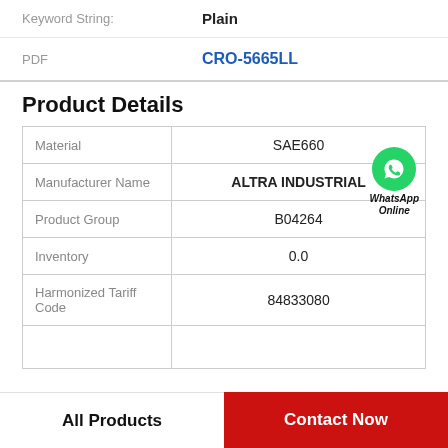Keyword String: Plain
PDF CRO-5665LL
Product Details
|  |  |
| --- | --- |
| Material | SAE660 |
| Manufacturer Name | ALTRA INDUSTRIAL |
| Product Group | B04264 |
| Inventory | 0.0 |
| Harmonized Tariff Code | 84833080 |
All Products
Contact Now